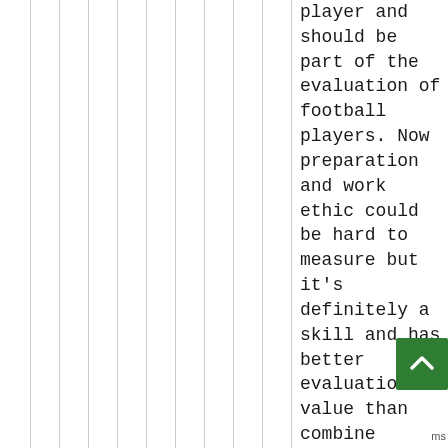player and should be part of the evaluation of football players. Now preparation and work ethic could be hard to measure but it's definitely a skill and has better evaluation value than combine numbers which IMO are the only truly individual stats in football but worse than useless for evaluation